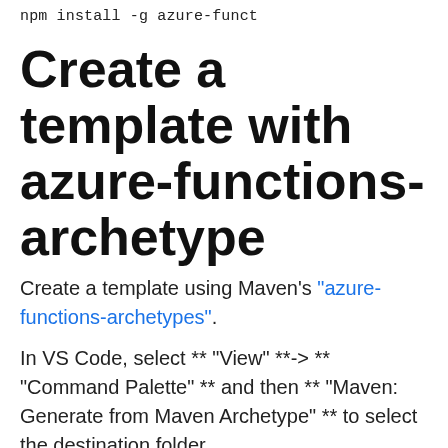npm install -g azure-funct
Create a template with azure-functions-archetype
Create a template using Maven's "azure-functions-archetypes".
In VS Code, select ** "View" **-> ** "Command Palette" ** and then ** "Maven: Generate from Maven Archetype" ** to select the destination folder.